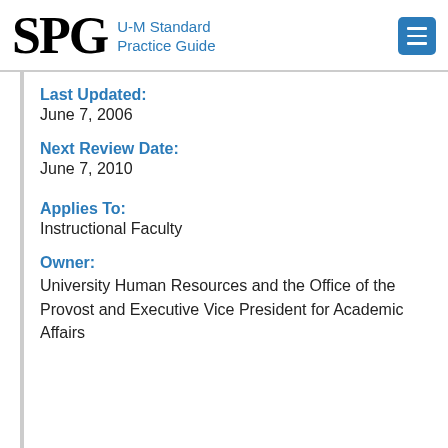SPG U-M Standard Practice Guide
Last Updated:
June 7, 2006
Next Review Date:
June 7, 2010
Applies To:
Instructional Faculty
Owner:
University Human Resources and the Office of the Provost and Executive Vice President for Academic Affairs